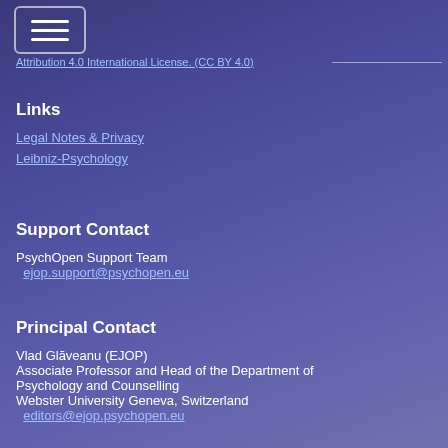Attribution 4.0 International License. (CC BY 4.0)
Links
Legal Notes & Privacy
Leibniz-Psychology
Support Contact
PsychOpen Support Team
ejop.support@psychopen.eu
Principal Contact
Vlad Glăveanu (EJOP)
Associate Professor and Head of the Department of Psychology and Counselling
Webster University Geneva, Switzerland
editors@ejop.psychopen.eu